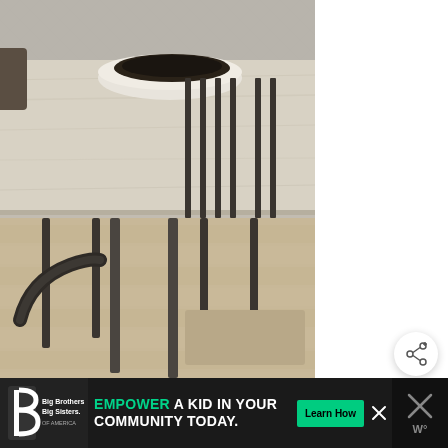[Figure (photo): Close-up photo of a modern dining room: a light whitewashed wood dining table top with a large white ceramic bowl with dark interior, surrounded by dark metal-framed chairs with wooden slats and a light wood floor.]
[Figure (other): Circular white share/social button with a share icon and plus symbol, positioned to the right of the photo.]
Big Brothers Big Sisters OF AMERICA
EMPOWER A KID IN YOUR COMMUNITY TODAY.
Learn How